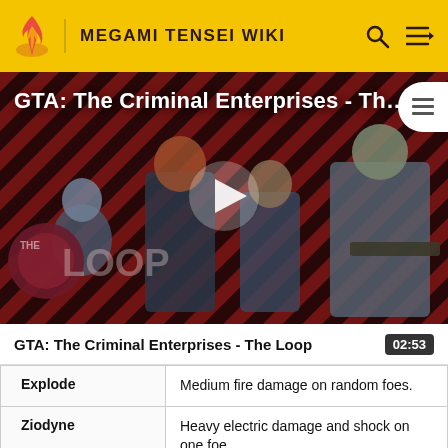MEGAMI TENSEI WIKI
[Figure (screenshot): Video thumbnail for GTA: The Criminal Enterprises - The Loop showing game characters on a red diagonal-striped background with a play button overlay and The Loop badge]
GTA: The Criminal Enterprises - The Loop
| Skill | Description |
| --- | --- |
| Explode | Medium fire damage on random foes. |
| Ziodyne | Heavy electric damage and shock on one foe. |